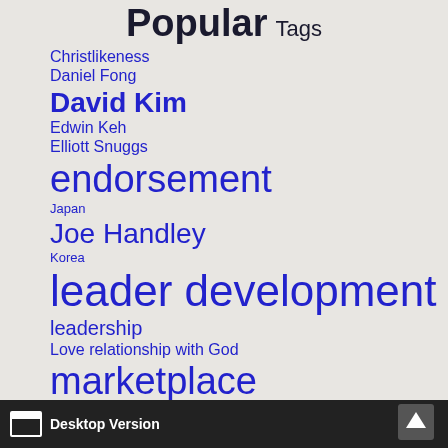Popular Tags
Christlikeness
Daniel Fong
David Kim
Edwin Keh
Elliott Snuggs
endorsement
Japan
Joe Handley
Korea
leader development
leadership
Love relationship with God
marketplace
micro-enterprise
Desktop Version